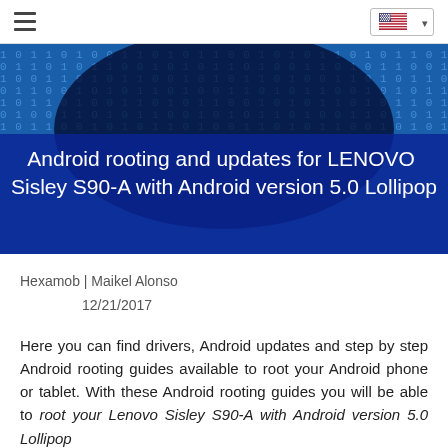Hamburger menu | Language selector (US flag)
[Figure (illustration): Blue digital binary code background banner image with dark center vignette, overlaid with a dark blue semi-transparent box containing the article title text: Android rooting and updates for LENOVO Sisley S90-A with Android version 5.0 Lollipop]
Android rooting and updates for LENOVO Sisley S90-A with Android version 5.0 Lollipop
Hexamob | Maikel Alonso
12/21/2017
Here you can find drivers, Android updates and step by step Android rooting guides available to root your Android phone or tablet. With these Android rooting guides you will be able to root your Lenovo Sisley S90-A with Android version 5.0 Lollipop